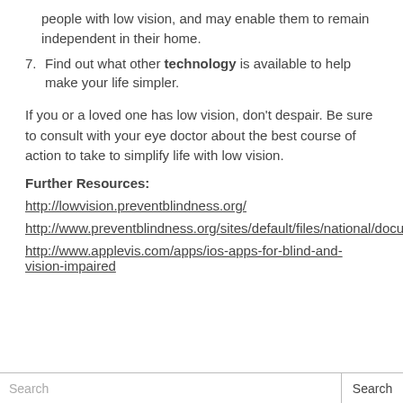people with low vision, and may enable them to remain independent in their home.
7. Find out what other technology is available to help make your life simpler.
If you or a loved one has low vision, don't despair. Be sure to consult with your eye doctor about the best course of action to take to simplify life with low vision.
Further Resources:
http://lowvision.preventblindness.org/
http://www.preventblindness.org/sites/default/files/national/documer
http://www.applevis.com/apps/ios-apps-for-blind-and-vision-impaired